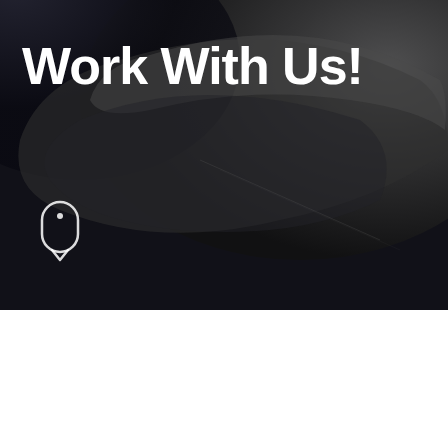[Figure (photo): Dark background hero image showing a close-up of what appears to be a dark curved surface or material, used as a decorative background for a 'Work With Us!' recruitment banner]
Work With Us!
Global market trend 2024-2030 Omicron booster needle is expected to be...
News / August 10 2022